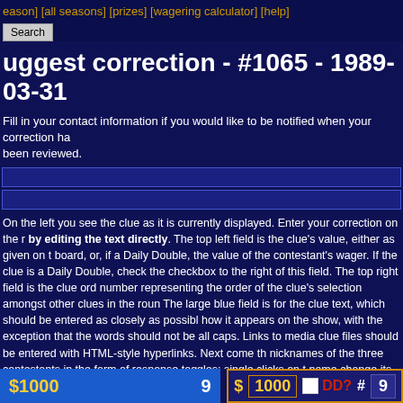[season] [all seasons] [prizes] [wagering calculator] [help]
uggest correction - #1065 - 1989-03-31
Fill in your contact information if you would like to be notified when your correction has been reviewed.
On the left you see the clue as it is currently displayed. Enter your correction on the right by editing the text directly. The top left field is the clue's value, either as given on the board, or, if a Daily Double, the value of the contestant's wager. If the clue is a Daily Double, check the checkbox to the right of this field. The top right field is the clue order number representing the order of the clue's selection amongst other clues in the round. The large blue field is for the clue text, which should be entered as closely as possible how it appears on the show, with the exception that the words should not be all caps. Links to media clue files should be entered with HTML-style hyperlinks. Next come the nicknames of the three contestants in the form of response toggles: single clicks on the name change its color from white (no response) to green (correct response) to red (incorrect response) and back. Below this should be typed the correct response (only the most essential part--it should not be entered in the form of a question). The bottom field on the right is the clue comments field, where dialog (including incorrect responses) can be entered. (Note that the correct response should never be typed in the comments field; rather, it should be denoted by [*].)